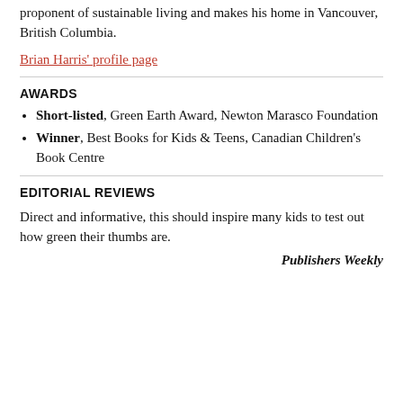proponent of sustainable living and makes his home in Vancouver, British Columbia.
Brian Harris' profile page
AWARDS
Short-listed, Green Earth Award, Newton Marasco Foundation
Winner, Best Books for Kids & Teens, Canadian Children's Book Centre
EDITORIAL REVIEWS
Direct and informative, this should inspire many kids to test out how green their thumbs are.
Publishers Weekly